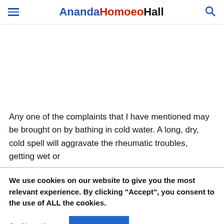AnandaHomoeoHall
Any one of the complaints that I have mentioned may be brought on by bathing in cold water. A long, dry, cold spell will aggravate the rheumatic troubles, getting wet or
We use cookies on our website to give you the most relevant experience. By clicking “Accept”, you consent to the use of ALL the cookies.
Cookie settings  ACCEPT